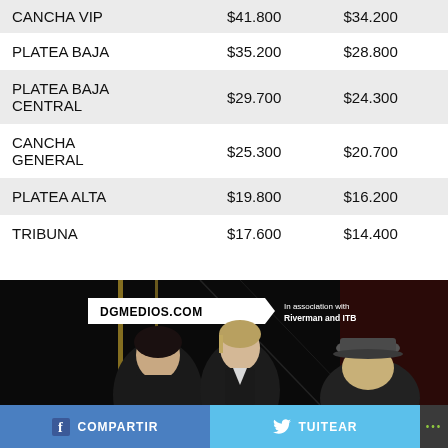|  | Price 1 | Price 2 |
| --- | --- | --- |
| CANCHA VIP | $41.800 | $34.200 |
| PLATEA BAJA | $35.200 | $28.800 |
| PLATEA BAJA CENTRAL | $29.700 | $24.300 |
| CANCHA GENERAL | $25.300 | $20.700 |
| PLATEA ALTA | $19.800 | $16.200 |
| TRIBUNA | $17.600 | $14.400 |
[Figure (photo): Dark promotional photo of three people (band members) with DGMEDIOS.COM logo and 'In association with Riverman and ITB' text overlay]
f COMPARTIR   TUITEAR   ...